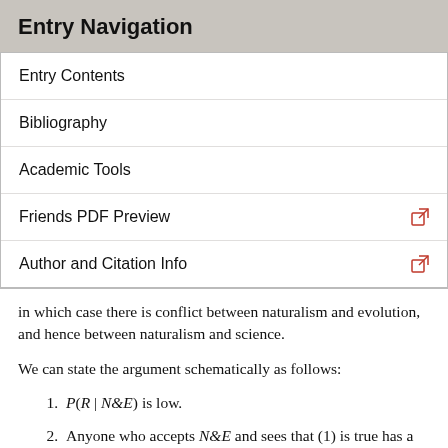Entry Navigation
Entry Contents
Bibliography
Academic Tools
Friends PDF Preview
Author and Citation Info
in which case there is conflict between naturalism and evolution, and hence between naturalism and science.
We can state the argument schematically as follows:
1. P(R | N&E) is low.
2. Anyone who accepts N&E and sees that (1) is true has a defeater for R.
3. Anyone who has a defeater for R has a defeater for any other belief she holds, including N&E itself.
Therefore